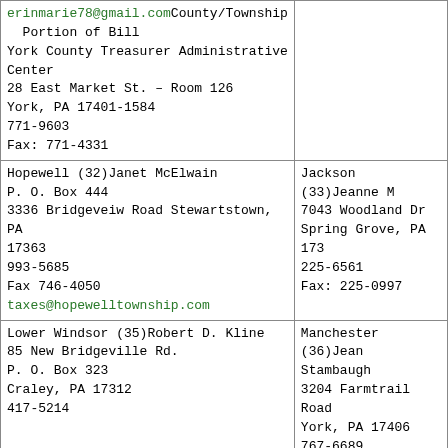| erinmarie78@gmail.comCounty/Township Portion of Bill
York County Treasurer Administrative Center
28 East Market St. – Room 126
York, PA 17401-1584
771-9603
Fax: 771-4331 |  |
| Hopewell (32)Janet McElwain
P. O. Box 444
3336 Bridgeveiw Road Stewartstown, PA 17363
993-5685
Fax 746-4050
taxes@hopewelltownship.com | Jackson (33)Jeanne M
7043 Woodland Dr
Spring Grove, PA 17...
225-6561
Fax: 225-0997 |
| Lower Windsor (35)Robert D. Kline
85 New Bridgeville Rd.
P. O. Box 323
Craley, PA 17312
417-5214 | Manchester (36)Jean Stambaugh
3204 Farmtrail Road
York, PA 17406
767-6689 |